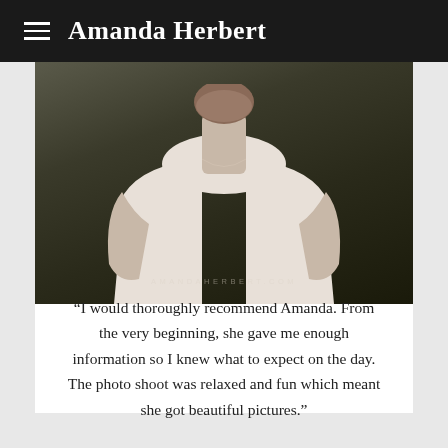Amanda Herbert
[Figure (photo): Portrait photo of a man wearing a white t-shirt against a dark background, cropped from chest up. Watermark reads AMANDAHERBERT.COM]
“I would thoroughly recommend Amanda. From the very beginning, she gave me enough information so I knew what to expect on the day. The photo shoot was relaxed and fun which meant she got beautiful pictures.”